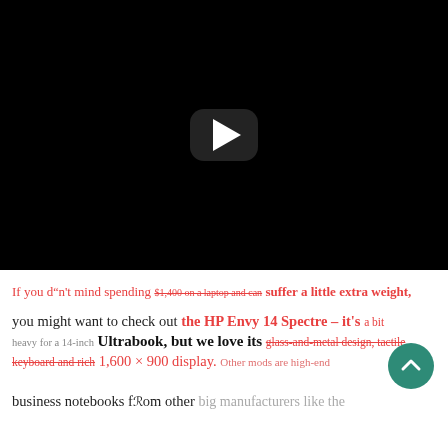[Figure (screenshot): Black video player with a play button (rounded rectangle with white triangle) centered on a black background.]
If you dâ€n't mind spending $1,400 on a laptop and Ã¢€ž can suffer a little extra weight,
you might want to check out the HP Envy 14 Spectre – it's a bit heavy for a 14-inch Ultrabook, but we love its glass-and-metal design, tactile keyboard and rich 1,600 × 900 display. Other mods are high-end
business notebooks from other big manufacturers like the